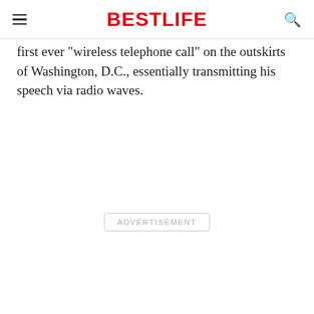BESTLIFE
first ever "wireless telephone call" on the outskirts of Washington, D.C., essentially transmitting his speech via radio waves.
ADVERTISEMENT